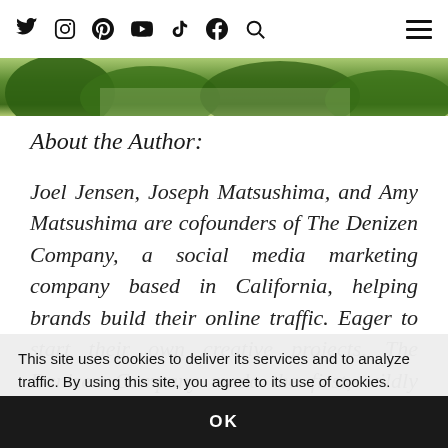Social media icons: Twitter, Instagram, Pinterest, YouTube, TikTok, Facebook, Search; hamburger menu
[Figure (photo): Green nature/garden landscape image strip]
About the Author:
Joel Jensen, Joseph Matsushima, and Amy Matsushima are cofounders of The Denizen Company, a social media marketing company based in California, helping brands build their online traffic. Eager to start their own creative projects, The Denizen Company made the first, wildly popular, Tiny Hamster video. They've since turned the project into an ongoing series. Tiny Hamster Is
This site uses cookies to deliver its services and to analyze traffic. By using this site, you agree to its use of cookies. Learn more
OK